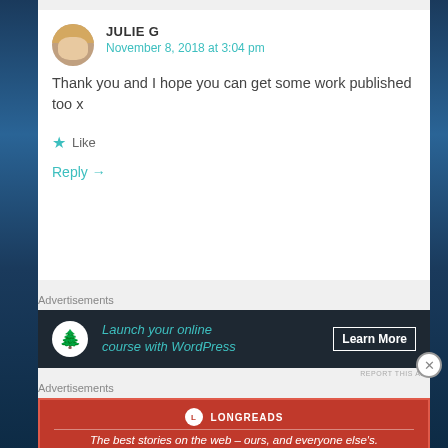JULIE G
November 8, 2018 at 3:04 pm
Thank you and I hope you can get some work published too x
Like
Reply →
Advertisements
[Figure (infographic): Dark banner ad: Launch your online course with WordPress — Learn More button, with bonsai tree logo]
REPORT THIS AD
Advertisements
[Figure (infographic): Red Longreads banner ad: The best stories on the web — ours, and everyone else's.]